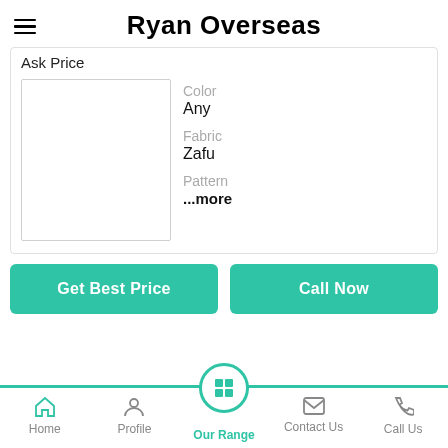Ryan Overseas
Ask Price
[Figure (other): Product image placeholder box (white square with border)]
Color
Any
Fabric
Zafu
Pattern
...more
Get Best Price
Call Now
Home  Profile  Our Range  Contact Us  Call Us